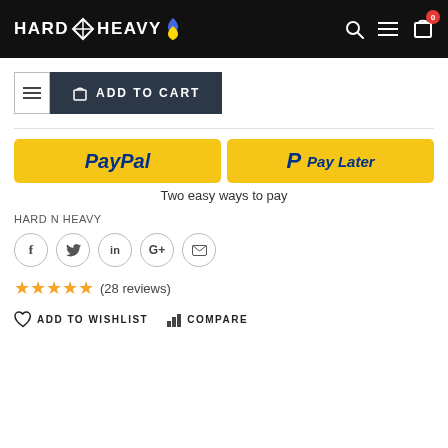HARD N HEAVY — navigation header with logo, search, menu, and cart icons
ADD TO CART
[Figure (other): PayPal and Pay Later payment buttons, golden/yellow background]
Two easy ways to pay
HARD N HEAVY
[Figure (other): Social share icons: Facebook, Twitter, LinkedIn, Google+, Email]
(28 reviews)
ADD TO WISHLIST
COMPARE